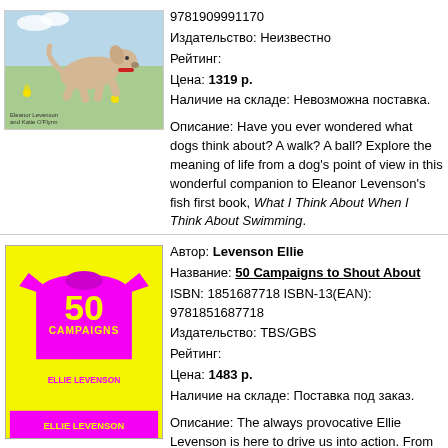[Figure (illustration): Book cover showing a dog running on a grassy field with flowers]
9781909991170
Издательство: Неизвестно
Рейтинг:
Цена: 1319 р.
Наличие на складе: Невозможна поставка.

Описание: Have you ever wondered what dogs think about? A walk? A ball? Explore the meaning of life from a dog's point of view in this wonderful companion to Eleanor Levenson's fish first book, What I Think About When I Think About Swimming.
[Figure (illustration): Book cover for 50 Campaigns to Shout About with yellow background and pink t-shirt design]
Автор: Levenson Ellie
Название: 50 Campaigns to Shout About
ISBN: 1851687718 ISBN-13(EAN): 9781851687718
Издательство: TBS/GBS
Рейтинг:
Цена: 1483 р.
Наличие на складе: Поставка под заказ.

Описание: The always provocative Ellie Levenson is here to drive us into action. From building more affordable housing to